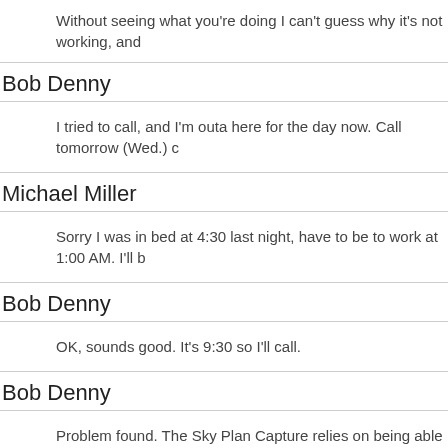Without seeing what you're doing I can't guess why it's not working, and
Bob Denny
I tried to call, and I'm outa here for the day now. Call tomorrow (Wed.) c
Michael Miller
Sorry I was in bed at 4:30 last night, have to be to work at 1:00 AM. I'll b
Bob Denny
OK, sounds good. It's 9:30 so I'll call.
Bob Denny
Problem found. The Sky Plan Capture relies on being able to get the sc documented feature/function in the Windows API. However, on Window over it with the mouse". Apparently it too uses the mouse capture functi